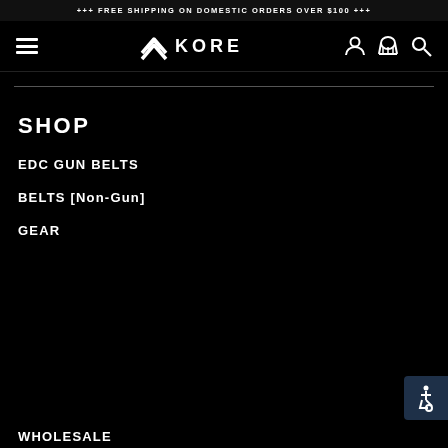+++ FREE SHIPPING ON DOMESTIC ORDERS OVER $100 +++
[Figure (logo): Kore logo with hamburger menu, user icon, basket icon, and search icon in navigation bar]
SHOP
EDC GUN BELTS
BELTS [Non-Gun]
GEAR
WHOLESALE